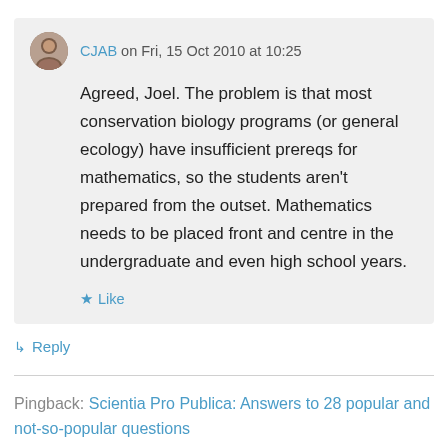CJAB on Fri, 15 Oct 2010 at 10:25
Agreed, Joel. The problem is that most conservation biology programs (or general ecology) have insufficient prereqs for mathematics, so the students aren't prepared from the outset. Mathematics needs to be placed front and centre in the undergraduate and even high school years.
★ Like
↳ Reply
Pingback: Scientia Pro Publica: Answers to 28 popular and not-so-popular questions